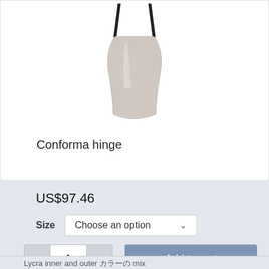[Figure (photo): Product image of a Conforma hinge — a white/light grey vase-shaped or hourglass-shaped garment/hardware piece with black straps at the top, shown against a white background]
Conforma hinge
US$97.46
Size   Choose an option
- 1 +  Add to cart
Lycra inner and outer カラーの mix